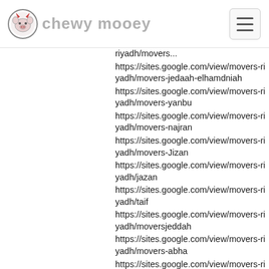chewy mooey
https://sites.google.com/view/movers-riyadh/movers-jedaah-elhamdniah
https://sites.google.com/view/movers-riyadh/movers-yanbu
https://sites.google.com/view/movers-riyadh/movers-najran
https://sites.google.com/view/movers-riyadh/movers-Jizan
https://sites.google.com/view/movers-riyadh/jazan
https://sites.google.com/view/movers-riyadh/taif
https://sites.google.com/view/movers-riyadh/moversjeddah
https://sites.google.com/view/movers-riyadh/movers-abha
https://sites.google.com/view/movers-riyadh/movers-elahsa
https://sites.google.com/view/movers-riyadh/movers-elkhobar